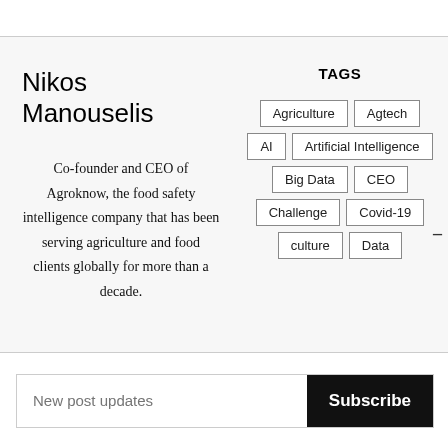Nikos Manouselis
TAGS
Co-founder and CEO of Agroknow, the food safety intelligence company that has been serving agriculture and food clients globally for more than a decade.
Agriculture
Agtech
AI
Artificial Intelligence
Big Data
CEO
Challenge
Covid-19
culture
Data
New post updates
Subscribe